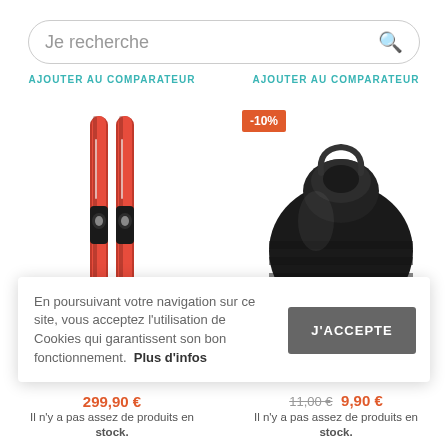[Figure (screenshot): Search bar with placeholder text 'Je recherche' and search icon]
AJOUTER AU COMPARATEUR
AJOUTER AU COMPARATEUR
[Figure (photo): Two red water skis (Connelly brand) side by side]
[Figure (photo): Black inflatable boat valve/pump fitting, close-up photo]
-10%
En poursuivant votre navigation sur ce site, vous acceptez l'utilisation de Cookies qui garantissent son bon fonctionnement.  Plus d'infos
J'ACCEPTE
299,90 €
Il n'y a pas assez de produits en stock.
11,00 €  9,90 €
Il n'y a pas assez de produits en stock.